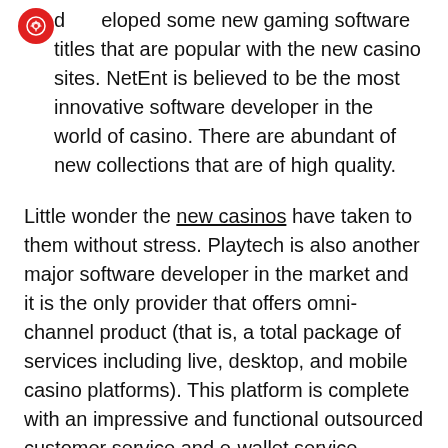developed some new gaming software titles that are popular with the new casino sites. NetEnt is believed to be the most innovative software developer in the world of casino. There are abundant of new collections that are of high quality.
Little wonder the new casinos have taken to them without stress. Playtech is also another major software developer in the market and it is the only provider that offers omni-channel product (that is, a total package of services including live, desktop, and mobile casino platforms). This platform is complete with an impressive and functional outsourced customer service and e-wallet service.
Apart from these three providers, new casino sites also explore other new and innovative software providers such as Aristocrat, Quickspin, iSoftbet, and Yggdrasil, among others. All these providers offer top